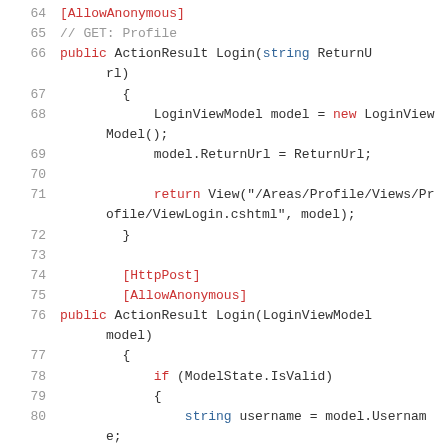[Figure (screenshot): Code listing showing C# ASP.NET MVC controller methods for Login (GET and POST), lines 64-81, with syntax highlighting: keywords in red, types in blue/teal, comments in gray.]